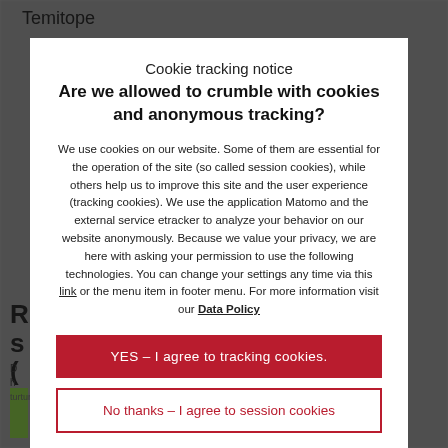Temitope
Cookie tracking notice
Are we allowed to crumble with cookies and anonymous tracking?
We use cookies on our website. Some of them are essential for the operation of the site (so called session cookies), while others help us to improve this site and the user experience (tracking cookies). We use the application Matomo and the external service etracker to analyze your behavior on our website anonymously. Because we value your privacy, we are here with asking your permission to use the following technologies. You can change your settings any time via this link or the menu item in footer menu. For more information visit our Data Policy
YES – I agree to tracking cookies.
No thanks – I agree to session cookies